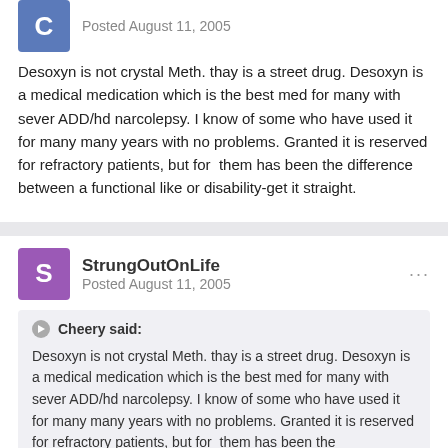Posted August 11, 2005
Desoxyn is not crystal Meth. thay is a street drug. Desoxyn is a medical medication which is the best med for many with sever ADD/hd narcolepsy. I know of some who have used it for many many years with no problems. Granted it is reserved for refractory patients, but for them has been the difference between a functional like or disability-get it straight.
StrungOutOnLife
Posted August 11, 2005
Cheery said:
Desoxyn is not crystal Meth. thay is a street drug. Desoxyn is a medical medication which is the best med for many with sever ADD/hd narcolepsy. I know of some who have used it for many many years with no problems. Granted it is reserved for refractory patients, but for them has been the